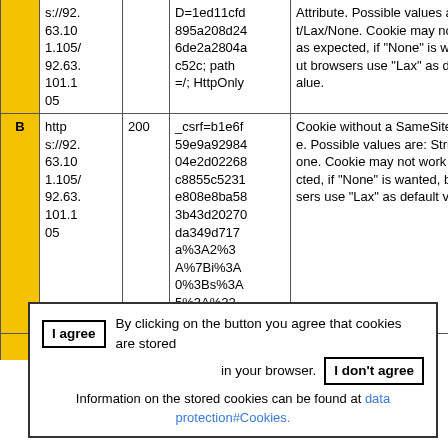|  | URL | Status | Cookie Value | Description |
| --- | --- | --- | --- | --- |
|  | https://92.63.101.105/92.63.101.105 |  | D=1ed11cfd895a208d246de2a2804ac52c; path=/; HttpOnly | Attribute. Possible values are: Strict/Lax/None. Cookie may not work as expected, if "None" is wanted, but browsers use "Lax" as default value. |
| B | https://92.63.101.105/92.63.101.105 | 200 | _csrf=b1e6f59e9a9298404e2d02268c8855c5231e808e8ba583b43d20270da349d717a%3A2%3A%7Bi%3A0%3Bs%3A5%3A%22_csrf%22%3 | Cookie without a SameSite-Attribute. Possible values are: Strict/Lax/None. Cookie may not work as expected, if "None" is wanted, but browsers use "Lax" as default value. |
|  |  |  | c0%3C0%3 |  |
I agree  By clicking on the button you agree that cookies are stored in your browser.  I don't agree  Information on the stored cookies can be found at data protection#Cookies.